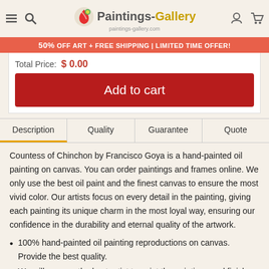Paintings-Gallery paintings-gallery.com
50% OFF ART + FREE SHIPPING | LIMITED TIME OFFER!
Total Price: $0.00
Add to cart
Description | Quality | Guarantee | Quote
Countess of Chinchon by Francisco Goya is a hand-painted oil painting on canvas. You can order paintings and frames online. We only use the best oil paint and the finest canvas to ensure the most vivid color. Our artists focus on every detail in the painting, giving each painting its unique charm in the most loyal way, ensuring our confidence in the durability and eternal quality of the artwork.
100% hand-painted oil painting reproductions on canvas. Provide the best quality.
We will arrange the best artist to paint the paintings and finish your order within 10 to 25 days in generally.